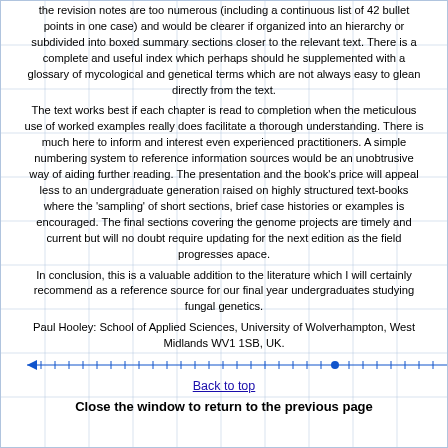the revision notes are too numerous (including a continuous list of 42 bullet points in one case) and would be clearer if organized into an hierarchy or subdivided into boxed summary sections closer to the relevant text. There is a complete and useful index which perhaps should he supplemented with a glossary of mycological and genetical terms which are not always easy to glean directly from the text.
The text works best if each chapter is read to completion when the meticulous use of worked examples really does facilitate a thorough understanding. There is much here to inform and interest even experienced practitioners. A simple numbering system to reference information sources would be an unobtrusive way of aiding further reading. The presentation and the book's price will appeal less to an undergraduate generation raised on highly structured text-books where the 'sampling' of short sections, brief case histories or examples is encouraged. The final sections covering the genome projects are timely and current but will no doubt require updating for the next edition as the field progresses apace.
In conclusion, this is a valuable addition to the literature which I will certainly recommend as a reference source for our final year undergraduates studying fungal genetics.
Paul Hooley: School of Applied Sciences, University of Wolverhampton, West Midlands WV1 1SB, UK.
[Figure (other): Horizontal timeline/ruler with arrow pointing left and a dot marker]
Back to top
Close the window to return to the previous page